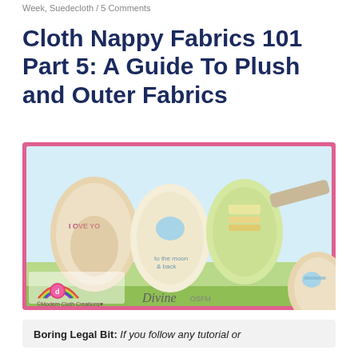Week, Suedecloth / 5 Comments
Cloth Nappy Fabrics 101 Part 5: A Guide To Plush and Outer Fabrics
[Figure (photo): Photo of multiple cloth nappies/diapers with colorful printed fabric designs (kangaroo and nature scenes), arranged on a light blue background. Watermarks read 'Modern Cloth Creations' and 'Divine OSFM'.]
Boring Legal Bit: If you follow any tutorial or